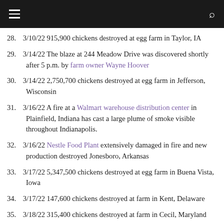Navigation header bar
28. 3/10/22 915,900 chickens destroyed at egg farm in Taylor, IA
29. 3/14/22 The blaze at 244 Meadow Drive was discovered shortly after 5 p.m. by farm owner Wayne Hoover
30. 3/14/22 2,750,700 chickens destroyed at egg farm in Jefferson, Wisconsin
31. 3/16/22 A fire at a Walmart warehouse distribution center in Plainfield, Indiana has cast a large plume of smoke visible throughout Indianapolis.
32. 3/16/22 Nestle Food Plant extensively damaged in fire and new production destroyed Jonesboro, Arkansas
33. 3/17/22 5,347,500 chickens destroyed at egg farm in Buena Vista, Iowa
34. 3/17/22 147,600 chickens destroyed at farm in Kent, Delaware
35. 3/18/22 315,400 chickens destroyed at farm in Cecil, Maryland